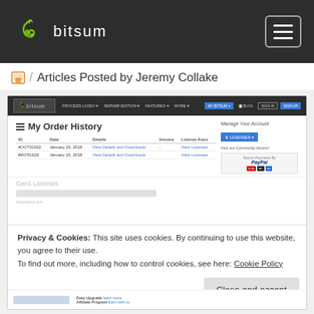[Figure (screenshot): Bitsum website header with logo and hamburger menu on dark background]
Articles Posted by Jeremy Collake
[Figure (screenshot): Screenshot of Bitsum website showing My Order History page with two orders dated January 15, 2018, and a cookie consent overlay reading: Privacy & Cookies: This site uses cookies. By continuing to use this website, you agree to their use. To find out more, including how to control cookies, see here: Cookie Policy. With a Close and accept button.]